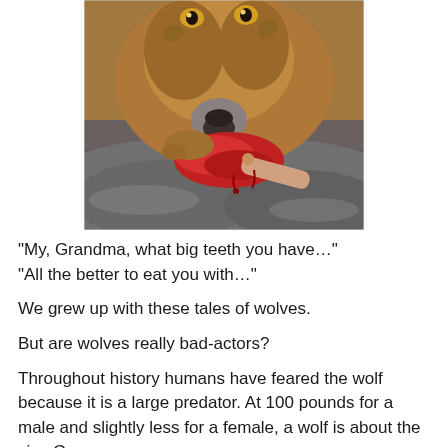[Figure (photo): Close-up photograph of a wolf gnawing on a raw bloody bone/meat, resting on a dark rock surface. The wolf has brown/tan fur and yellow eyes visible at the top of the frame.]
“My, Grandma, what big teeth you have…”
“All the better to eat you with…”

We grew up with these tales of wolves.

But are wolves really bad-actors?

Throughout history humans have feared the wolf because it is a large predator. At 100 pounds for a male and slightly less for a female, a wolf is about the size German